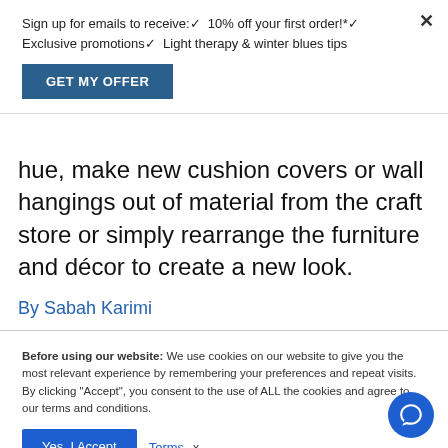Sign up for emails to receive:✔ 10% off your first order!*✔ Exclusive promotions✔ Light therapy & winter blues tips
GET MY OFFER
hue, make new cushion covers or wall hangings out of material from the craft store or simply rearrange the furniture and décor to create a new look.
By Sabah Karimi
Before using our website: We use cookies on our website to give you the most relevant experience by remembering your preferences and repeat visits. By clicking "Accept", you consent to the use of ALL the cookies and agree to our terms and conditions.
Yes, I Accept
Terms  x